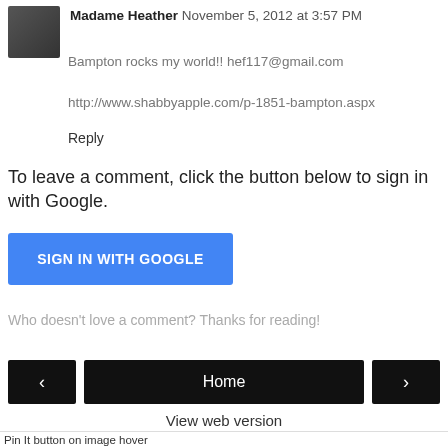Madame Heather  November 5, 2012 at 3:57 PM
Bampton rocks my world!! hef117@gmail.com
http://www.shabbyapple.com/p-1851-bampton.aspx
Reply
To leave a comment, click the button below to sign in with Google.
[Figure (other): Blue button labeled SIGN IN WITH GOOGLE]
Who doesn't love a comment? Thanks for reading!
[Figure (other): Navigation bar with left arrow, Home, and right arrow buttons]
View web version
Powered by Blogger.
Pin It button on image hover